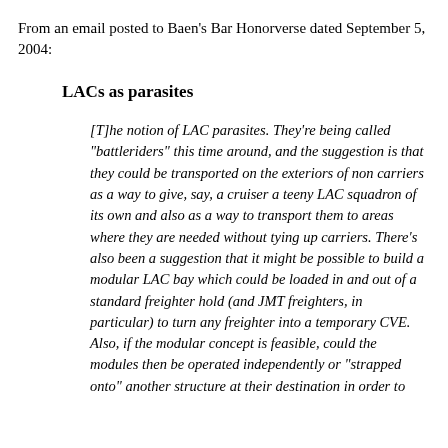From an email posted to Baen's Bar Honorverse dated September 5, 2004:
LACs as parasites
[T]he notion of LAC parasites. They're being called "battleriders" this time around, and the suggestion is that they could be transported on the exteriors of non carriers as a way to give, say, a cruiser a teeny LAC squadron of its own and also as a way to transport them to areas where they are needed without tying up carriers. There's also been a suggestion that it might be possible to build a modular LAC bay which could be loaded in and out of a standard freighter hold (and JMT freighters, in particular) to turn any freighter into a temporary CVE. Also, if the modular concept is feasible, could the modules then be operated independently or "strapped onto" another structure at their destination in order to